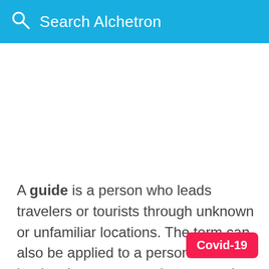Search Alchetron
A guide is a person who leads travelers or tourists through unknown or unfamiliar locations. The term can also be applied to a person who leads others to more abstract goals such as knowledge or wisdom.
Covid-19